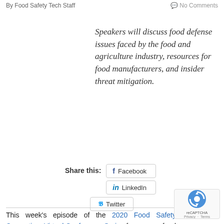By Food Safety Tech Staff   No Comments
Speakers will discuss food defense issues faced by the food and agriculture industry, resources for food manufacturers, and insider threat mitigation.
Share this:  Facebook  LinkedIn  Twitter
This week’s episode of the 2020 Food Safety Consortium Virtual Conference Series focuses on food defense and the insider threat. The following topics will be discussed during Thursday’s session: